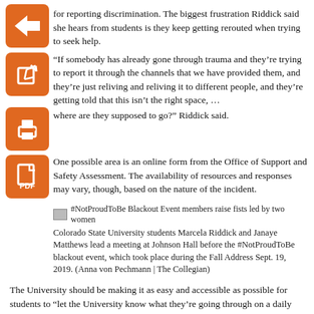for reporting discrimination. The biggest frustration Riddick said she hears from students is they keep getting rerouted when trying to seek help.
“If somebody has already gone through trauma and they’re trying to report it through the channels that we have provided them, and they’re just reliving and reliving it to different people, and they’re getting told that this isn’t the right space, … where are they supposed to go?” Riddick said.
One possible area is an online form from the Office of Support and Safety Assessment. The availability of resources and responses may vary, though, based on the nature of the incident.
[Figure (photo): #NotProudToBe Blackout Event members raise fists led by two women]
Colorado State University students Marcela Riddick and Janaye Matthews lead a meeting at Johnson Hall before the #NotProudToBe blackout event, which took place during the Fall Address Sept. 19, 2019. (Anna von Pechmann | The Collegian)
The University should be making it as easy and accessible as possible for students to “let the University know what they’re going through on a daily basis,” Riddick said. And the fact that it isn’t means students are being silenced.